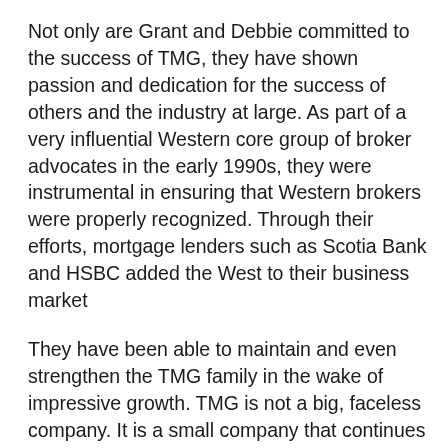Not only are Grant and Debbie committed to the success of TMG, they have shown passion and dedication for the success of others and the industry at large.  As part of a very influential Western core group of broker advocates in the early 1990s, they were instrumental in ensuring that Western brokers were properly recognized. Through their efforts, mortgage lenders such as Scotia Bank and HSBC added the West to their business market
They have been able to maintain and even strengthen the TMG family in the wake of impressive growth. TMG is not a big, faceless company. It is a small company that continues to grow.
For Debbie Thomas, Partner of TMG, education was the key to helping brokers and agents develop and grow their business. “When we started, mortgage brokers had a bad rep and were considered a last resort. I wanted to educate the public of the benefits of using a broker,” she said.
Over the years, the industry has made inroads into gaining